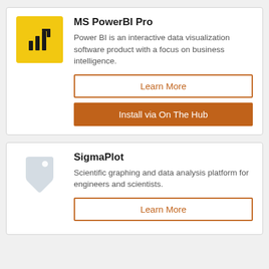[Figure (logo): MS Power BI logo — yellow square with bar chart icon]
MS PowerBI Pro
Power BI is an interactive data visualization software product with a focus on business intelligence.
Learn More
Install via On The Hub
[Figure (illustration): Light grey price tag icon]
SigmaPlot
Scientific graphing and data analysis platform for engineers and scientists.
Learn More